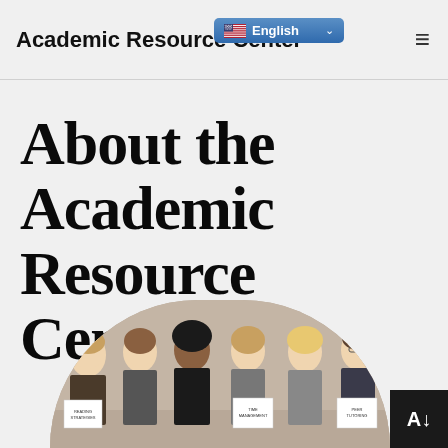Academic Resource Center
About the Academic Resource Center
[Figure (photo): Group of students holding signs reading 'Reading Strategies', 'Time Management', and 'Peer Tutoring', standing in front of a beige background, photo displayed within an arch/rounded rectangle shape at the bottom of the page.]
[Figure (screenshot): Language selector button showing English with US flag, and hamburger menu icon in the navigation bar. Also an accessibility button (A with down arrow) in the bottom right corner.]